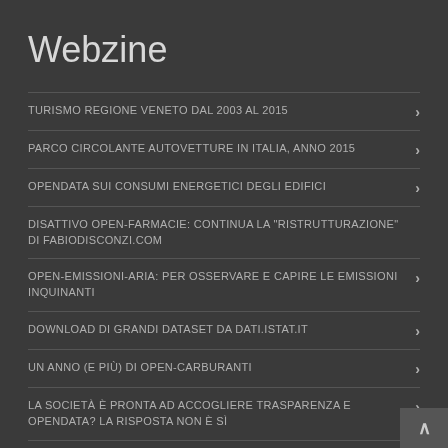Webzine
TURISMO REGIONE VENETO DAL 2003 AL 2015
PARCO CIRCOLANTE AUTOVETTURE IN ITALIA, ANNO 2015
OPENDATA SUI CONSUMI ENERGETICI DEGLI EDIFICI
DISATTIVO OPEN-FARMACIE: CONTINUA LA "RISTRUTTURAZIONE" DI FABIODISCONZI.COM
OPEN-EMISSIONI-ARIA: PER OSSERVARE E CAPIRE LE EMISSIONI INQUINANTI
DOWNLOAD DI GRANDI DATASET DA DATI.ISTAT.IT
UN ANNO (E PIÙ) DI OPEN-CARBURANTI
LA SOCIETÀ È PRONTA AD ACCOGLIERE TRASPARENZA E OPENDATA? LA RISPOSTA NON È SÌ
CONVERTIRE UNO SHAPEFILE IN FORMATO GEOJSON